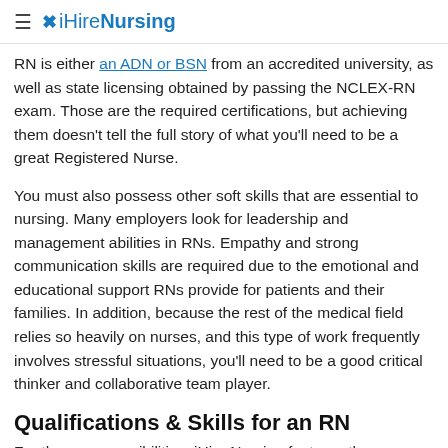≡ iHireNursing
RN is either an ADN or BSN from an accredited university, as well as state licensing obtained by passing the NCLEX-RN exam. Those are the required certifications, but achieving them doesn't tell the full story of what you'll need to be a great Registered Nurse.
You must also possess other soft skills that are essential to nursing. Many employers look for leadership and management abilities in RNs. Empathy and strong communication skills are required due to the emotional and educational support RNs provide for patients and their families. In addition, because the rest of the medical field relies so heavily on nurses, and this type of work frequently involves stressful situations, you'll need to be a good critical thinker and collaborative team player.
Qualifications & Skills for an RN
For these responsibilities, iHire Nursing features these missing ads in th